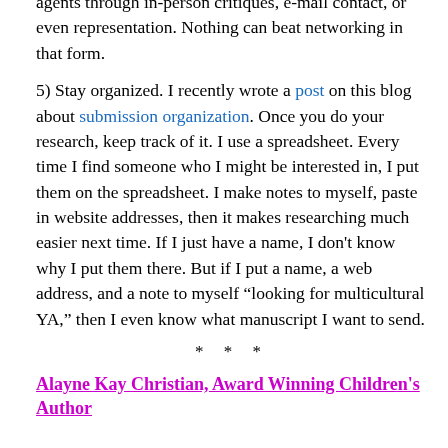agents through in-person critiques, e-mail contact, or even representation. Nothing can beat networking in that form.
5) Stay organized. I recently wrote a post on this blog about submission organization. Once you do your research, keep track of it. I use a spreadsheet. Every time I find someone who I might be interested in, I put them on the spreadsheet. I make notes to myself, paste in website addresses, then it makes researching much easier next time. If I just have a name, I don't know why I put them there. But if I put a name, a web address, and a note to myself “looking for multicultural YA,” then I even know what manuscript I want to send.
* * *
Alayne Kay Christian, Award Winning Children's Author